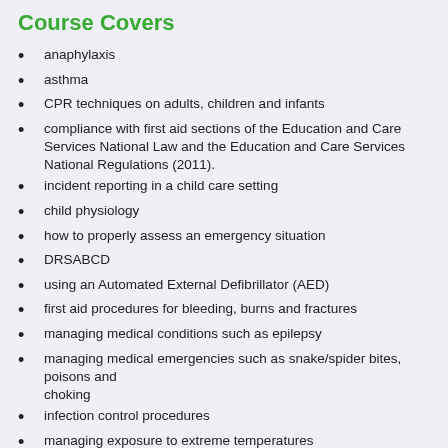Course Covers
anaphylaxis
asthma
CPR techniques on adults, children and infants
compliance with first aid sections of the Education and Care Services National Law and the Education and Care Services National Regulations (2011).
incident reporting in a child care setting
child physiology
how to properly assess an emergency situation
DRSABCD
using an Automated External Defibrillator (AED)
first aid procedures for bleeding, burns and fractures
managing medical conditions such as epilepsy
managing medical emergencies such as snake/spider bites, poisons and choking
infection control procedures
managing exposure to extreme temperatures
administering  first aid for eye & soft tissue injuries
assessing and moving sick & injured